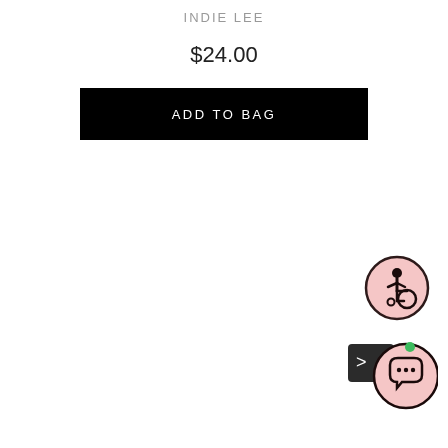INDIE LEE
$24.00
ADD TO BAG
[Figure (illustration): Accessibility icon: person in wheelchair, pink circular background with dark border]
[Figure (illustration): Chat/messaging widget icon: speech bubble with ellipsis, pink circular button with dark border, green dot indicator, and a small dark panel with arrow]